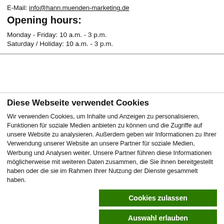E-Mail: info@hann.muenden-marketing.de
Opening hours:
Monday - Friday: 10 a.m. - 3 p.m.
Saturday / Holiday: 10 a.m. - 3 p.m.
Diese Webseite verwendet Cookies
Wir verwenden Cookies, um Inhalte und Anzeigen zu personalisieren, Funktionen für soziale Medien anbieten zu können und die Zugriffe auf unsere Website zu analysieren. Außerdem geben wir Informationen zu Ihrer Verwendung unserer Website an unsere Partner für soziale Medien, Werbung und Analysen weiter. Unsere Partner führen diese Informationen möglicherweise mit weiteren Daten zusammen, die Sie ihnen bereitgestellt haben oder die sie im Rahmen Ihrer Nutzung der Dienste gesammelt haben.
Cookies zulassen
Auswahl erlauben
Nur notwendige Cookies
Notwendig  Präferenzen  Statistiken  Marketing  Details zeigen